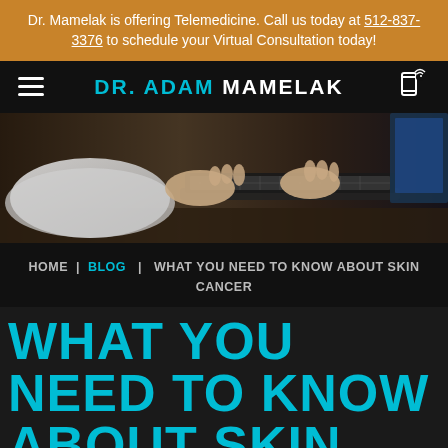Dr. Mamelak is offering Telemedicine. Call us today at 512-837-3376 to schedule your Virtual Consultation today!
DR. ADAM MAMELAK
[Figure (photo): Person typing on a laptop keyboard, viewed from above at an angle, dark background]
HOME | BLOG | WHAT YOU NEED TO KNOW ABOUT SKIN CANCER
WHAT YOU NEED TO KNOW ABOUT SKIN CANCER